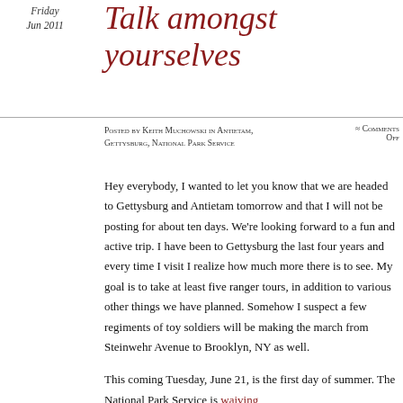Friday
Jun 2011
Talk amongst yourselves
Posted by Keith Muchowski in Antietam, Gettysburg, National Park Service ≈ Comments Off
Hey everybody, I wanted to let you know that we are headed to Gettysburg and Antietam tomorrow and that I will not be posting for about ten days.  We're looking forward to a fun and active trip.  I have been to Gettysburg the last four years and every time I visit I realize how much more there is to see.  My goal is to take at least five ranger tours, in addition to various other things we have planned.  Somehow I suspect a few regiments of toy soldiers will be making the march from Steinwehr Avenue to Brooklyn, NY as well.
This coming Tuesday, June 21, is the first day of summer.  The National Park Service is waiving